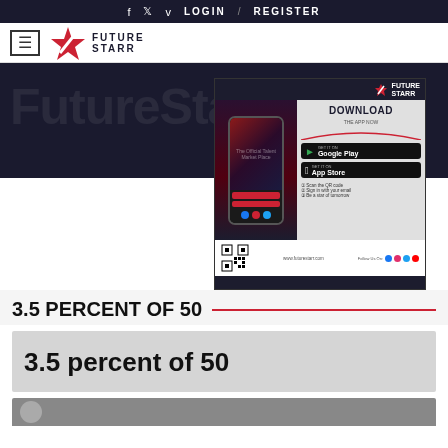f  Twitter  v  LOGIN  /  REGISTER
[Figure (logo): FutureStarr logo with hamburger menu icon and star graphic]
[Figure (infographic): FutureStarr app download advertisement banner showing phone mockup, Google Play and App Store buttons, QR code, and www.futurestarr.com URL]
3.5 PERCENT OF 50
3.5 percent of 50
[Figure (photo): Partial bottom strip image - appears to be a person photo]